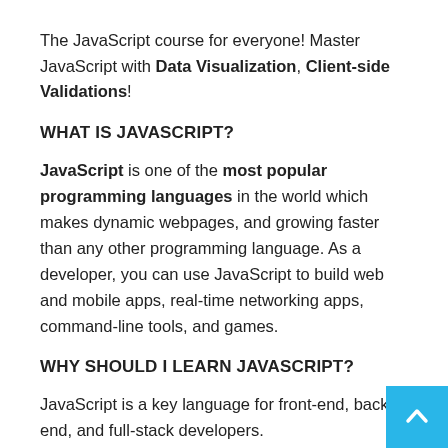The JavaScript course for everyone! Master JavaScript with Data Visualization, Client-side Validations!
WHAT IS JAVASCRIPT?
JavaScript is one of the most popular programming languages in the world which makes dynamic webpages, and growing faster than any other programming language. As a developer, you can use JavaScript to build web and mobile apps, real-time networking apps, command-line tools, and games.
WHY SHOULD I LEARN JAVASCRIPT?
JavaScript is a key language for front-end, back-end, and full-stack developers.